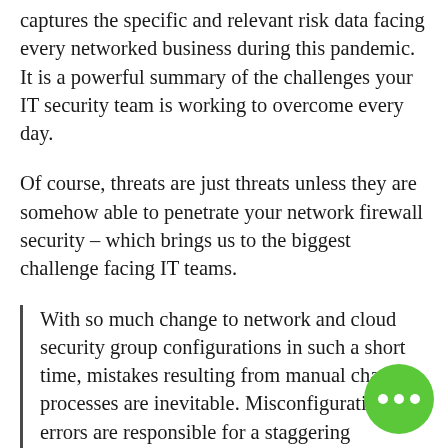captures the specific and relevant risk data facing every networked business during this pandemic. It is a powerful summary of the challenges your IT security team is working to overcome every day.
Of course, threats are just threats unless they are somehow able to penetrate your network firewall security – which brings us to the biggest challenge facing IT teams.
With so much change to network and cloud security group configurations in such a short time, mistakes resulting from manual change processes are inevitable. Misconfiguration errors are responsible for a staggering percentage of security breaches. Gartner reports that 99 per cent of all firewall breaches over the next several years will be caused by misconfigurations, not